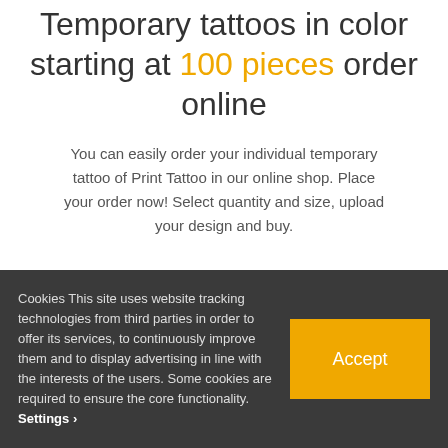Temporary tattoos in color starting at 100 pieces order online
You can easily order your individual temporary tattoo of Print Tattoo in our online shop. Place your order now! Select quantity and size, upload your design and buy.
Cookies This site uses website tracking technologies from third parties in order to offer its services, to continuously improve them and to display advertising in line with the interests of the users. Some cookies are required to ensure the core functionality. Settings ›